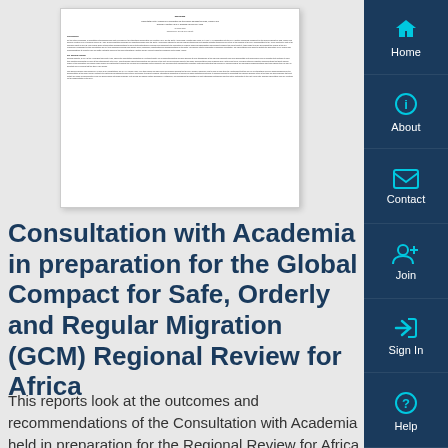[Figure (other): Thumbnail preview of a document page showing the full text of the report on Consultation with Academia in preparation for the GCM Regional Review for Africa]
Consultation with Academia in preparation for the Global Compact for Safe, Orderly and Regular Migration (GCM) Regional Review for Africa
This reports look at the outcomes and recommendations of the Consultation with Academia held in preparation for the Regional Review for Africa